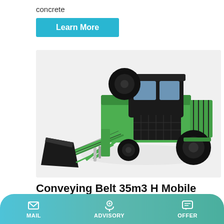concrete
Learn More
[Figure (photo): Green mobile concrete batching plant with conveying belt, black cab, large bucket loader attachment, and heavy-duty tires, on white/grey background.]
Conveying Belt 35m3 H Mobile Concrete Batching Plant
MAIL   ADVISORY   OFFER